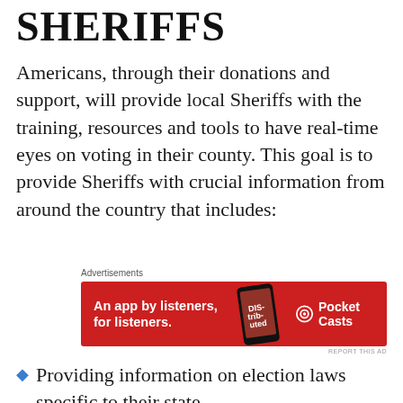SHERIFFS
Americans, through their donations and support, will provide local Sheriffs with the training, resources and tools to have real-time eyes on voting in their county. This goal is to provide Sheriffs with crucial information from around the country that includes:
[Figure (other): Advertisement banner for Pocket Casts app: red background with text 'An app by listeners, for listeners.' and Pocket Casts logo on the right, with a phone image in the center.]
Providing information on election laws specific to their state